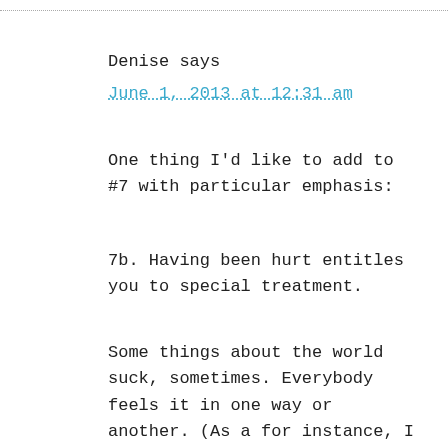Denise says
June 1, 2013 at 12:31 am
One thing I'd like to add to #7 with particular emphasis:
7b. Having been hurt entitles you to special treatment.
Some things about the world suck, sometimes. Everybody feels it in one way or another. (As a for instance, I don't think I know more than a handful of people who haven't been sexually exploited by someone they should have been able to trust.) But